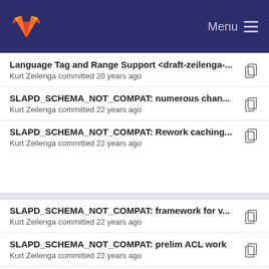GitLab — Menu
Language Tag and Range Support <draft-zeilenga-... | Kurt Zeilenga committed 20 years ago
SLAPD_SCHEMA_NOT_COMPAT: numerous chan... | Kurt Zeilenga committed 22 years ago
SLAPD_SCHEMA_NOT_COMPAT: Rework caching... | Kurt Zeilenga committed 22 years ago
SLAPD_SCHEMA_NOT_COMPAT: framework for v... | Kurt Zeilenga committed 22 years ago
SLAPD_SCHEMA_NOT_COMPAT: prelim ACL work | Kurt Zeilenga committed 22 years ago
Add extensibleObject support | Kurt Zeilenga committed 22 years ago
SLAPD_SCHEMA_NOT_COMPAT: framework for v...